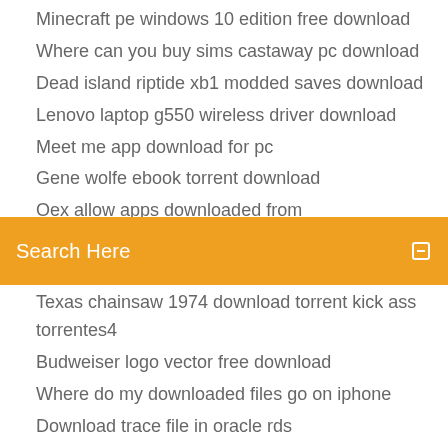Minecraft pe windows 10 edition free download
Where can you buy sims castaway pc download
Dead island riptide xb1 modded saves download
Lenovo laptop g550 wireless driver download
Meet me app download for pc
Gene wolfe ebook torrent download
Oex allow apps downloaded from
[Figure (screenshot): Orange search bar with white text 'Search Here' and a small icon on the right]
Texas chainsaw 1974 download torrent kick ass torrentes4
Budweiser logo vector free download
Where do my downloaded files go on iphone
Download trace file in oracle rds
Autodesk desktop app download location
Auto tune evo free download full version mac
Bowl logo americana border free download
Avg download for android
Download john hagee books pdf
Epson tm20ii driver download